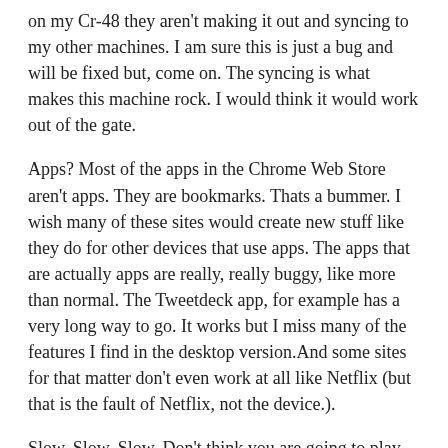on my Cr-48 they aren't making it out and syncing to my other machines. I am sure this is just a bug and will be fixed but, come on. The syncing is what makes this machine rock. I would think it would work out of the gate.
Apps? Most of the apps in the Chrome Web Store aren't apps. They are bookmarks. Thats a bummer. I wish many of these sites would create new stuff like they do for other devices that use apps. The apps that are actually apps are really, really buggy, like more than normal. The Tweetdeck app, for example has a very long way to go. It works but I miss many of the features I find in the desktop version.And some sites for that matter don't even work at all like Netflix (but that is the fault of Netflix, not the device.).
Slow, Slow, Slow. Don't think you are going to play WoW or do any heavy video editing on this machine. The Atom processor is nice but it is slow. Takes a while to do things. There is slight keyboard lag which gets annoying for a fast typer but I have gotten used to it. Even connected to a very fast network at home it still takes time for the pages to process and load. I am a little bummed about this stuff but in